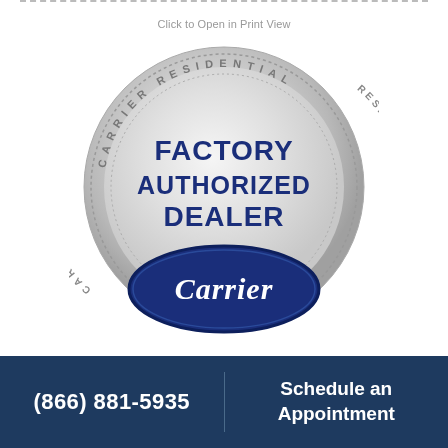Click to Open in Print View
[Figure (logo): Carrier Residential Factory Authorized Dealer silver medallion badge with Carrier blue oval logo]
(866) 881-5935
Schedule an Appointment